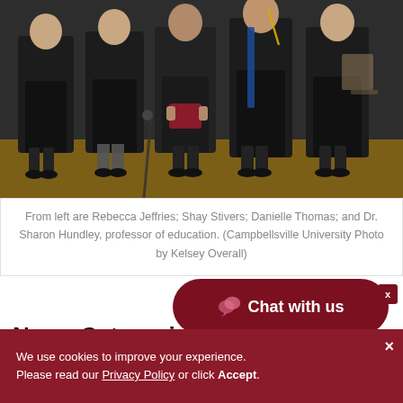[Figure (photo): Graduation photo showing people in black academic robes standing on a stage with a wooden floor. A person in the center holds a dark red diploma/folder.]
From left are Rebecca Jeffries; Shay Stivers; Danielle Thomas; and Dr. Sharon Hundley, professor of education. (Campbellsville University Photo by Kelsey Overall)
News Categories
Chat with us
We use cookies to improve your experience. Please read our Privacy Policy or click Accept.